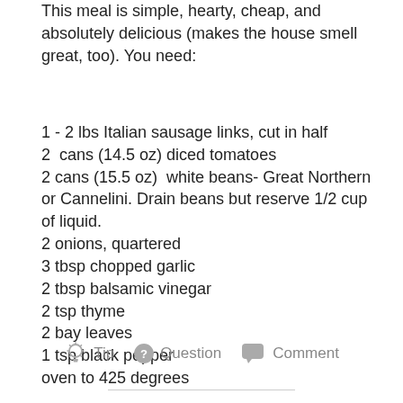This meal is simple, hearty, cheap, and absolutely delicious (makes the house smell great, too). You need:
1 - 2 lbs Italian sausage links, cut in half
2  cans (14.5 oz) diced tomatoes
2 cans (15.5 oz)  white beans- Great Northern or Cannelini. Drain beans but reserve 1/2 cup of liquid.
2 onions, quartered
3 tbsp chopped garlic
2 tbsp balsamic vinegar
2 tsp thyme
2 bay leaves
1 tsp black pepper
oven to 425 degrees
Tip   Question   Comment